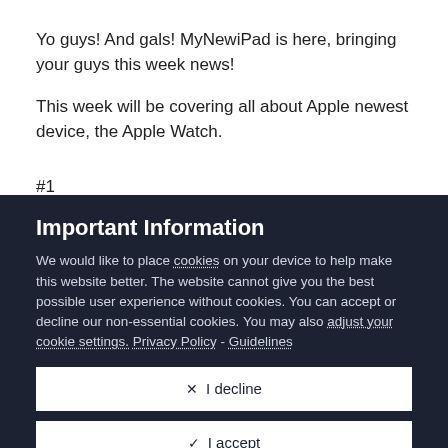Yo guys! And gals! MyNewiPad is here, bringing your guys this week news!
This week will be covering all about Apple newest device, the Apple Watch.
#1
Important Information
We would like to place cookies on your device to help make this website better. The website cannot give you the best possible user experience without cookies. You can accept or decline our non-essential cookies. You may also adjust your cookie settings. Privacy Policy - Guidelines
✕  I decline
✓  I accept